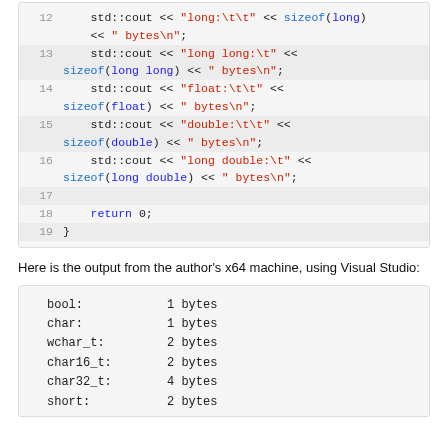[Figure (screenshot): C++ code block showing lines 12-19 with syntax highlighting. Lines include std::cout statements for sizeof long, long long, float, double, long double, a blank line 17, return 0 on line 18, and closing brace on line 19.]
Here is the output from the author’s x64 machine, using Visual Studio:
[Figure (screenshot): Terminal output block showing: bool: 1 bytes, char: 1 bytes, wchar_t: 2 bytes, char16_t: 2 bytes, char32_t: 4 bytes, short: 2 bytes]